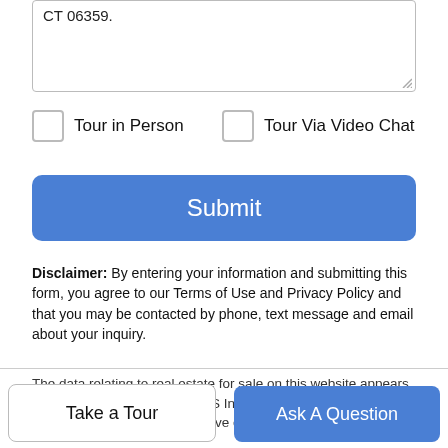CT 06359.
Tour in Person
Tour Via Video Chat
Submit
Disclaimer: By entering your information and submitting this form, you agree to our Terms of Use and Privacy Policy and that you may be contacted by phone, text message and email about your inquiry.
The data relating to real estate for sale on this website appears in part through the SMARTMLS Internet Data Exchange program, a voluntary cooperative exchange of property listing data between licensed real estate brokerage firms and is provided by
Take a Tour
Ask A Question